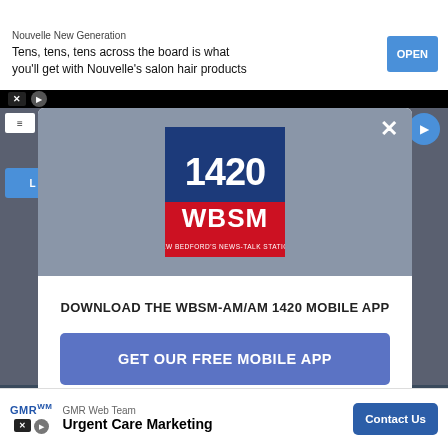[Figure (screenshot): Top advertisement banner for Nouvelle New Generation salon hair products with OPEN button]
Nouvelle New Generation
Tens, tens, tens across the board is what you'll get with Nouvelle's salon hair products
[Figure (logo): 1420 WBSM New Bedford's News-Talk Station logo - blue and red square logo]
DOWNLOAD THE WBSM-AM/AM 1420 MOBILE APP
GET OUR FREE MOBILE APP
Also listen on:  amazon alexa
[Figure (screenshot): Bottom advertisement banner for GMR Web Team - Urgent Care Marketing with Contact Us button]